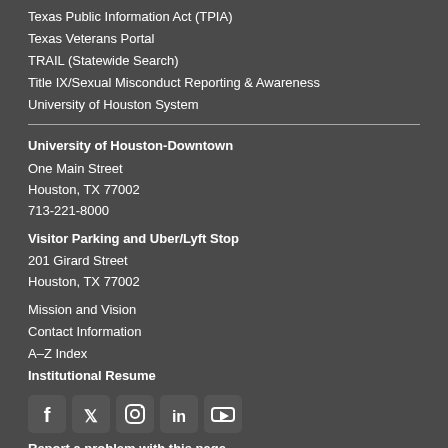Texas Public Information Act (TPIA)
Texas Veterans Portal
TRAIL (Statewide Search)
Title IX/Sexual Misconduct Reporting & Awareness
University of Houston System
University of Houston-Downtown
One Main Street
Houston, TX 77002
713-221-8000
Visitor Parking and Uber/Lyft Stop
201 Girard Street
Houston, TX 77002
Mission and Vision
Contact Information
A–Z Index
Institutional Resume
[Figure (illustration): Social media icons: Facebook, Twitter, Instagram, LinkedIn, YouTube]
Report a problem with this page